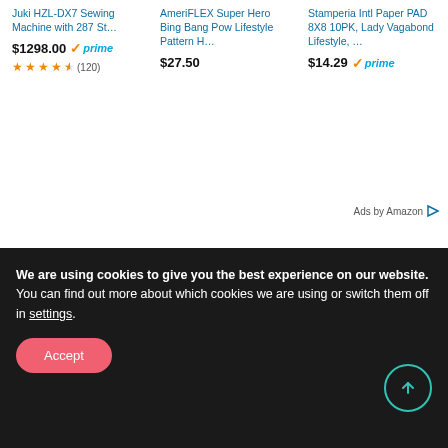[Figure (screenshot): Amazon ad product listings: Juki HZL-DX7, AmeriFLEX Super Hero, Stamperia Intl Paper PAD]
[Figure (illustration): Cursive signature reading 'Paulette Erato']
We are using cookies to give you the best experience on our website.
You can find out more about which cookies we are using or switch them off in settings.
Accept